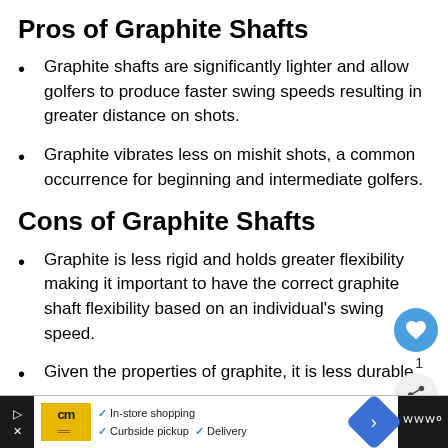Pros of Graphite Shafts
Graphite shafts are significantly lighter and allow golfers to produce faster swing speeds resulting in greater distance on shots.
Graphite vibrates less on mishit shots, a common occurrence for beginning and intermediate golfers.
Cons of Graphite Shafts
Graphite is less rigid and holds greater flexibility making it important to have the correct graphite shaft flexibility based on an individual's swing speed.
Given the properties of graphite, it is less durable